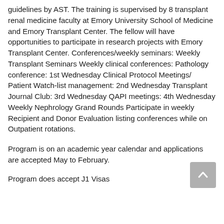guidelines by AST. The training is supervised by 8 transplant renal medicine faculty at Emory University School of Medicine and Emory Transplant Center. The fellow will have opportunities to participate in research projects with Emory Transplant Center. Conferences/weekly seminars: Weekly Transplant Seminars Weekly clinical conferences: Pathology conference: 1st Wednesday Clinical Protocol Meetings/ Patient Watch-list management: 2nd Wednesday Transplant Journal Club: 3rd Wednesday QAPI meetings: 4th Wednesday Weekly Nephrology Grand Rounds Participate in weekly Recipient and Donor Evaluation listing conferences while on Outpatient rotations.
Program is on an academic year calendar and applications are accepted May to February.
Program does accept J1 Visas